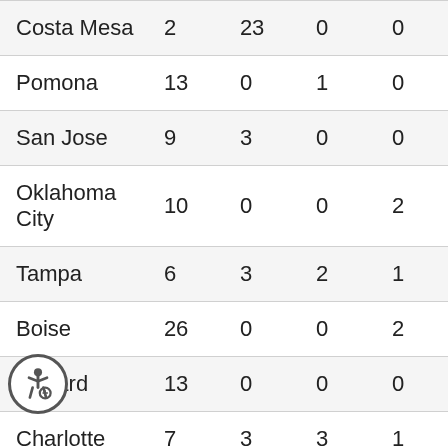| Costa Mesa | 2 | 23 | 0 | 0 |
| Pomona | 13 | 0 | 1 | 0 |
| San Jose | 9 | 3 | 0 | 0 |
| Oklahoma City | 10 | 0 | 0 | 2 |
| Tampa | 6 | 3 | 2 | 1 |
| Boise | 26 | 0 | 0 | 2 |
| Oxnard | 13 | 0 | 0 | 0 |
| Charlotte | 7 | 3 | 3 | 1 |
| Philadelphia | 11 | 0 | 2 | 1 |
| Boulder | 17 | 0 | 0 | 1 |
| ta Ana | 13 | 0 | 0 | 0 |
| Roseville | 10 | 3 | 0 | 0 |